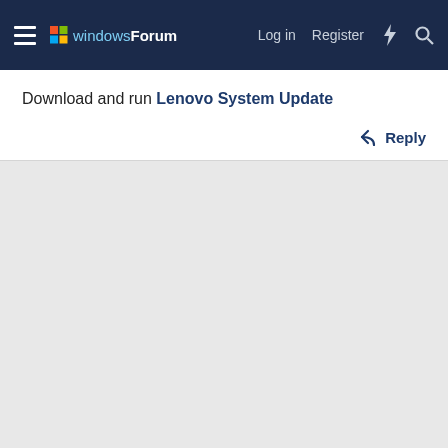windowsForum  Log in  Register
Download and run Lenovo System Update
Reply